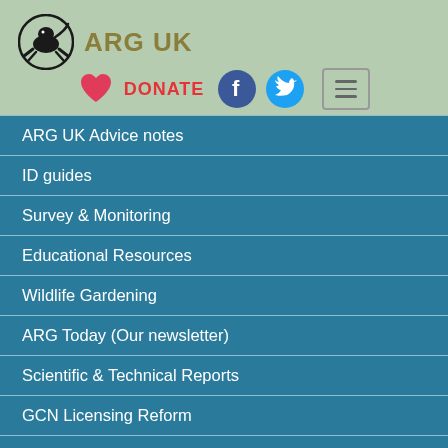ARG UK
ARG UK Advice notes
ID guides
Survey & Monitoring
Educational Resources
Wildlife Gardening
ARG Today (Our newsletter)
Scientific & Technical Reports
GCN Licensing Reform
ARG UK Logo / Brand guidelines